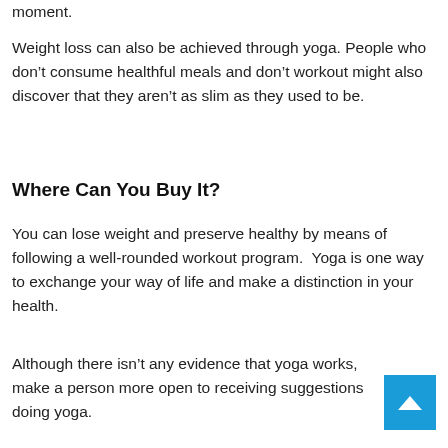moment.
Weight loss can also be achieved through yoga. People who don’t consume healthful meals and don’t workout might also discover that they aren’t as slim as they used to be.
Where Can You Buy It?
You can lose weight and preserve healthy by means of following a well-rounded workout program.  Yoga is one way to exchange your way of life and make a distinction in your health.
Although there isn’t any evidence that yoga works, make a person more open to receiving suggestions doing yoga.